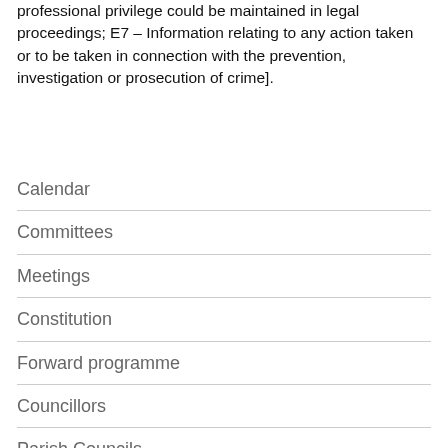professional privilege could be maintained in legal proceedings; E7 – Information relating to any action taken or to be taken in connection with the prevention, investigation or prosecution of crime].
Calendar
Committees
Meetings
Constitution
Forward programme
Councillors
Parish Councils